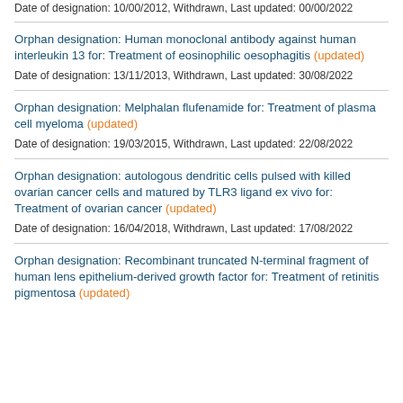Date of designation: 10/00/2012, Withdrawn, Last updated: 00/00/2022
Orphan designation: Human monoclonal antibody against human interleukin 13 for: Treatment of eosinophilic oesophagitis (updated)
Date of designation: 13/11/2013, Withdrawn, Last updated: 30/08/2022
Orphan designation: Melphalan flufenamide for: Treatment of plasma cell myeloma (updated)
Date of designation: 19/03/2015, Withdrawn, Last updated: 22/08/2022
Orphan designation: autologous dendritic cells pulsed with killed ovarian cancer cells and matured by TLR3 ligand ex vivo for: Treatment of ovarian cancer (updated)
Date of designation: 16/04/2018, Withdrawn, Last updated: 17/08/2022
Orphan designation: Recombinant truncated N-terminal fragment of human lens epithelium-derived growth factor for: Treatment of retinitis pigmentosa (updated)